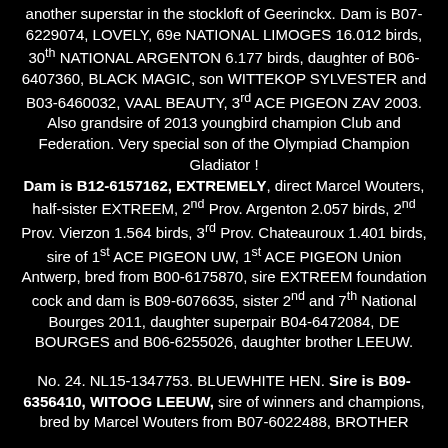another superstar in the stockloft of Geerinckx. Dam is B07-6229074, LOVELY, 69e NATIONAL LIMOGES 16.012 birds, 30th NATIONAL ARGENTON 6.177 birds, daughter of B06-6407360, BLACK MAGIC, son WITTEKOP SYLVESTER and B03-6460032, VAAL BEAUTY, 3rd ACE PIGEON ZAV 2003. Also grandsire of 2013 youngbird champion Club and Federation. Very special son of the Olympiad Champion Gladiator ! Dam is B12-6157162, EXTREMELY, direct Marcel Wouters, half-sister EXTREEM, 2nd Prov. Argenton 2.057 birds, 2nd Prov. Vierzon 1.564 birds, 3rd Prov. Chateauroux 1.401 birds, sire of 1st ACE PIGEON UW, 1st ACE PIGEON Union Antwerp, bred from B00-6175870, sire EXTREEM foundation cock and dam is B09-6076635, sister 2nd and 7th National Bourges 2011, daughter superpair B04-6472084, DE BOURGES and B06-6255026, daughter brother LEEUW.
No. 24. NL15-1347753. BLUEWHITE HEN. Sire is B09-6356410, WITOOG LEEUW, sire of winners and champions, bred by Marcel Wouters from B07-6022488, BROTHER